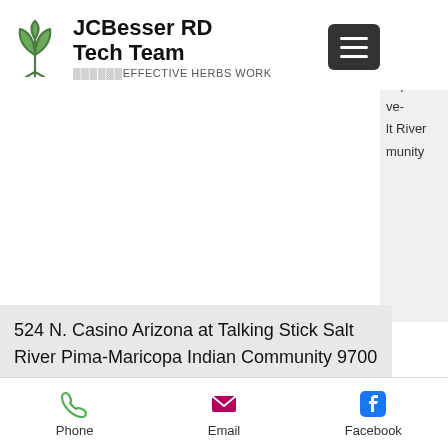JCBesser RD Tech Team — ☘☘☘☘☘☘EFFECTIVE HERBS WORK
io ona https ve- lt River munity
524 N. Casino Arizona at Talking Stick Salt River Pima-Maricopa Indian Community 9700 E. Indian Bend Rd, Scottsdale 1 mile east of Loop 101 on Indian Bend Rd www.
Casino online set up
Mathematically correct strategies and information for casino games like blackjack, craps, roulette and hundreds of others that can be played at online. Evolution is building its fourth us live dealer studio. At most – but not all – online casinos include keno,
Phone   Email   Facebook